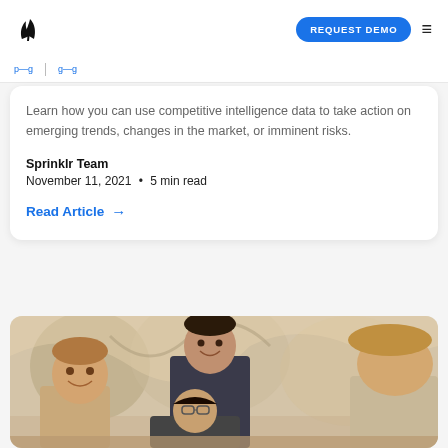[Figure (logo): Sprinklr logo — black leaf/sprout icon]
REQUEST DEMO  ≡
Learn how you can use competitive intelligence data to take action on emerging trends, changes in the market, or imminent risks.
Sprinklr Team
November 11, 2021  •  5 min read
Read Article →
[Figure (photo): Three young men smiling, working together around a table, colorful mural in background]